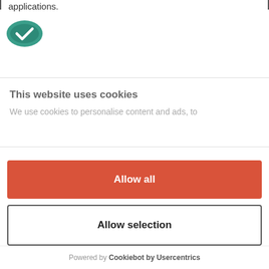applications.
[Figure (logo): Green cookie/checkmark logo icon for Cookiebot]
This website uses cookies
We use cookies to personalise content and ads, to
Allow all
Allow selection
Deny
Powered by Cookiebot by Usercentrics